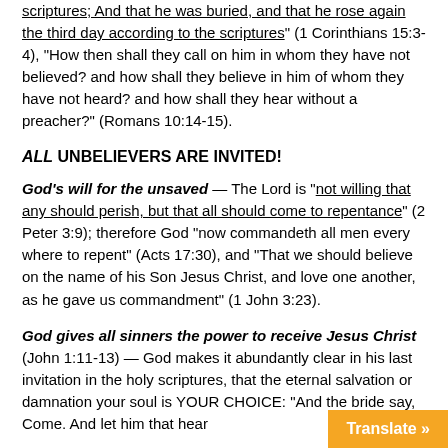scriptures; And that he was buried, and that he rose again the third day according to the scriptures" (1 Corinthians 15:3-4), "How then shall they call on him in whom they have not believed? and how shall they believe in him of whom they have not heard? and how shall they hear without a preacher?" (Romans 10:14-15).
ALL UNBELIEVERS ARE INVITED!
God's will for the unsaved — The Lord is "not willing that any should perish, but that all should come to repentance" (2 Peter 3:9); therefore God "now commandeth all men every where to repent" (Acts 17:30), and "That we should believe on the name of his Son Jesus Christ, and love one another, as he gave us commandment" (1 John 3:23).
God gives all sinners the power to receive Jesus Christ (John 1:11-13) — God makes it abundantly clear in his last invitation in the holy scriptures, that the eternal salvation or damnation your soul is YOUR CHOICE: "And the bride say Come. And let him that hear...